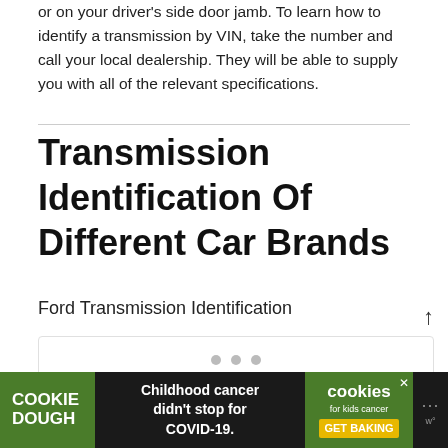or on your driver's side door jamb. To learn how to identify a transmission by VIN, take the number and call your local dealership. They will be able to supply you with all of the relevant specifications.
Transmission Identification Of Different Car Brands
Ford Transmission Identification
[Figure (other): Image placeholder with three dots indicating a slideshow or carousel]
[Figure (other): Advertisement banner: Cookie Dough brand — Childhood cancer didn't stop for COVID-19. Cookies for Kids Cancer — GET BAKING]